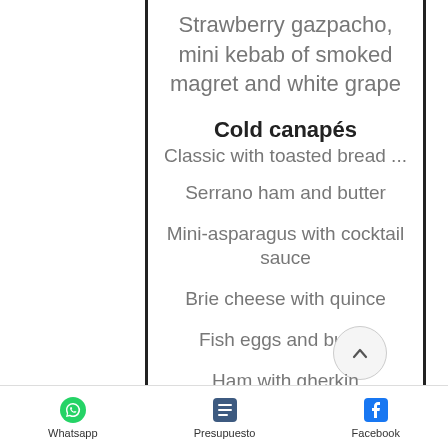Strawberry gazpacho, mini kebab of smoked magret and white grape
Cold canapés
Classic with toasted bread ...
Serrano ham and butter
Mini-asparagus with cocktail sauce
Brie cheese with quince
Fish eggs and butter
Ham with gherkin
Whatsapp   Presupuesto   Facebook